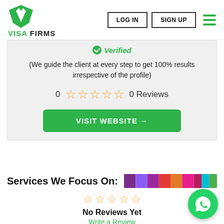[Figure (logo): Visa Firms logo with green diamond/shield icon and text VISA FIRMS]
Verified
(We guide the client at every step to get 100% results irrespective of the profile)
0 ☆☆☆☆☆ 0 Reviews
VISIT WEBSITE →
Services We Focus On:
[Figure (infographic): Colorful horizontal bar with multiple color segments representing service categories]
☆☆☆☆☆ No Reviews Yet Write a Review